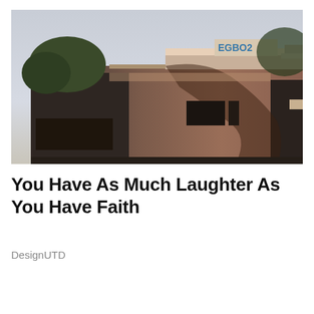[Figure (photo): Photograph of the exterior of a brick industrial building at dusk/golden hour. A sign reading 'EGBO2' or similar is visible on the rooftop parapet. Trees are visible in the background on the left. Tree shadows are cast across the right side of the building facade. Windows and vents are visible on the building.]
You Have As Much Laughter As You Have Faith
DesignUTD